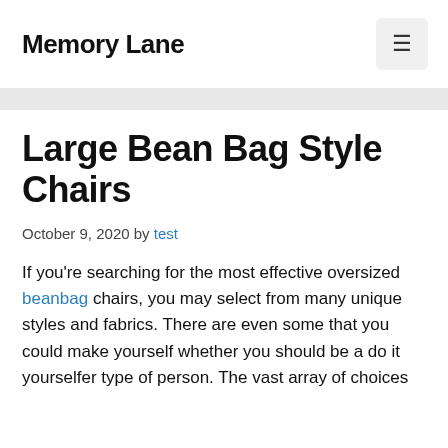Memory Lane
Large Bean Bag Style Chairs
October 9, 2020 by test
If you're searching for the most effective oversized beanbag chairs, you may select from many unique styles and fabrics. There are even some that you could make yourself whether you should be a do it yourselfer type of person. The vast array of choices